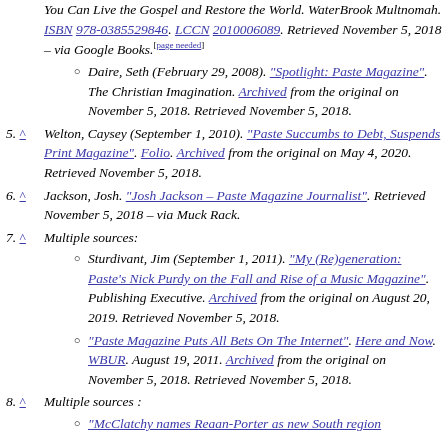(continuation) WaterBrook Multnomah. ISBN 978-0385529846. LCCN 2010006089. Retrieved November 5, 2018 – via Google Books.[page needed]
Daire, Seth (February 29, 2008). "Spotlight: Paste Magazine". The Christian Imagination. Archived from the original on November 5, 2018. Retrieved November 5, 2018.
5. ^ Welton, Caysey (September 1, 2010). "Paste Succumbs to Debt, Suspends Print Magazine". Folio. Archived from the original on May 4, 2020. Retrieved November 5, 2018.
6. ^ Jackson, Josh. "Josh Jackson – Paste Magazine Journalist". Retrieved November 5, 2018 – via Muck Rack.
7. ^ Multiple sources:
Sturdivant, Jim (September 1, 2011). "My (Re)generation: Paste's Nick Purdy on the Fall and Rise of a Music Magazine". Publishing Executive. Archived from the original on August 20, 2019. Retrieved November 5, 2018.
"Paste Magazine Puts All Bets On The Internet". Here and Now. WBUR. August 19, 2011. Archived from the original on November 5, 2018. Retrieved November 5, 2018.
8. ^ Multiple sources :
"McClatchy names Reaan-Porter as new South region